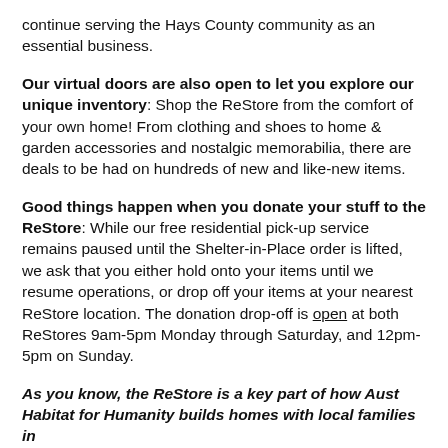continue serving the Hays County community as an essential business.
Our virtual doors are also open to let you explore our unique inventory: Shop the ReStore from the comfort of your own home! From clothing and shoes to home & garden accessories and nostalgic memorabilia, there are deals to be had on hundreds of new and like-new items.
Good things happen when you donate your stuff to the ReStore: While our free residential pick-up service remains paused until the Shelter-in-Place order is lifted, we ask that you either hold onto your items until we resume operations, or drop off your items at your nearest ReStore location. The donation drop-off is open at both ReStores 9am-5pm Monday through Saturday, and 12pm-5pm on Sunday.
As you know, the ReStore is a key part of how Aust Habitat for Humanity builds homes with local families in